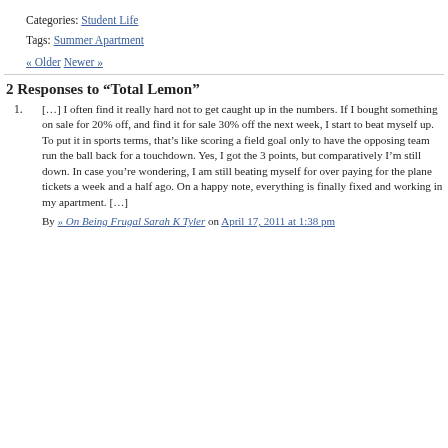Categories: Student Life
Tags: Summer Apartment
« Older Newer »
2 Responses to “Total Lemon”
[…] I often find it really hard not to get caught up in the numbers. If I bought something on sale for 20% off, and find it for sale 30% off the next week, I start to beat myself up. To put it in sports terms, that’s like scoring a field goal only to have the opposing team run the ball back for a touchdown. Yes, I got the 3 points, but comparatively I’m still down. In case you’re wondering, I am still beating myself for over paying for the plane tickets a week and a half ago. On a happy note, everything is finally fixed and working in my apartment. […]
By » On Being Frugal Sarah K Tyler on April 17, 2011 at 1:38 pm